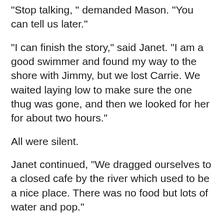"Stop talking, " demanded Mason. "You can tell us later."
"I can finish the story," said Janet. "I am a good swimmer and found my way to the shore with Jimmy, but we lost Carrie. We waited laying low to make sure the one thug was gone, and then we looked for her for about two hours."
All were silent.
Janet continued, "We dragged ourselves to a closed cafe by the river which used to be a nice place. There was no food but lots of water and pop."
Mason bandaged Jimmy's wound. There was no bullet in the wound.
Janet looked at the ground, "I am afraid there was a dead man in the pantry in the back, but all the food was gone. Then, we heard the strangest thing-a television came on. It was eerie."
Mason took out some whiskey and wine left over from the